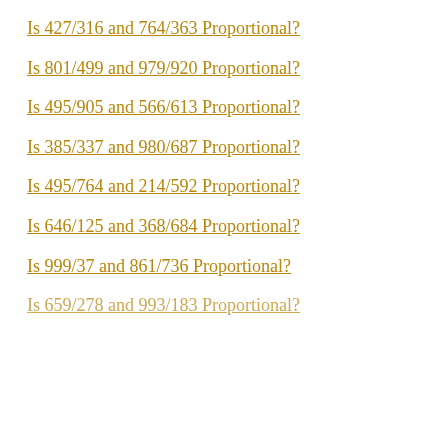Is 427/316 and 764/363 Proportional?
Is 801/499 and 979/920 Proportional?
Is 495/905 and 566/613 Proportional?
Is 385/337 and 980/687 Proportional?
Is 495/764 and 214/592 Proportional?
Is 646/125 and 368/684 Proportional?
Is 999/37 and 861/736 Proportional?
Is 659/278 and 993/183 Proportional?